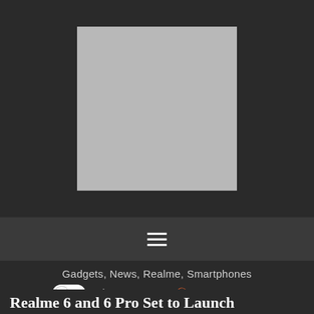[Figure (photo): Placeholder image rectangle (light gray) centered in dark header area]
[Figure (other): Navigation bar with hamburger menu icon (three horizontal white lines)]
Gadgets, News, Realme, Smartphones
February 26, 2020  Emman Tortoza
Realme 6 and 6 Pro Set to Launch